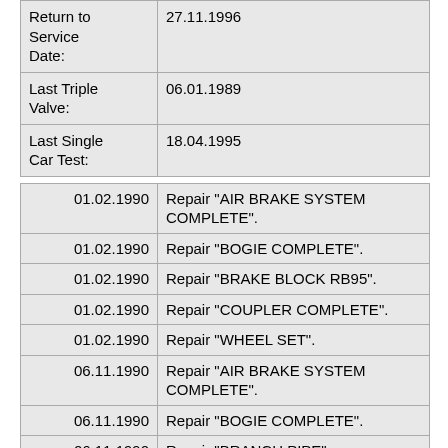| Field | Value |
| --- | --- |
| Return to Service Date: | 27.11.1996 |
| Last Triple Valve: | 06.01.1989 |
| Last Single Car Test: | 18.04.1995 |
| Date | Description |
| --- | --- |
| 01.02.1990 | Repair "AIR BRAKE SYSTEM COMPLETE". |
| 01.02.1990 | Repair "BOGIE COMPLETE". |
| 01.02.1990 | Repair "BRAKE BLOCK RB95". |
| 01.02.1990 | Repair "COUPLER COMPLETE". |
| 01.02.1990 | Repair "WHEEL SET". |
| 06.11.1990 | Repair "AIR BRAKE SYSTEM COMPLETE". |
| 06.11.1990 | Repair "BOGIE COMPLETE". |
| 06.11.1990 | Repair "BRANCH PIPE". |
| 06.11.1990 | Repair "COUPLER COMPLETE". |
| 06.11.1990 | Repair "COUPLER KNUCKLE". |